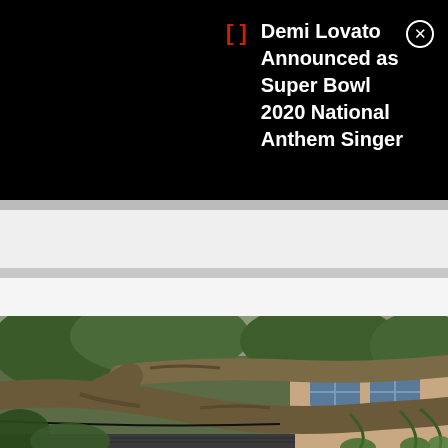Demi Lovato Announced as Super Bowl 2020 National Anthem Singer
[Figure (photo): A large fallen tree with thick branches lying across the roof of a residential house. Green foliage visible in the background, overcast sky.]